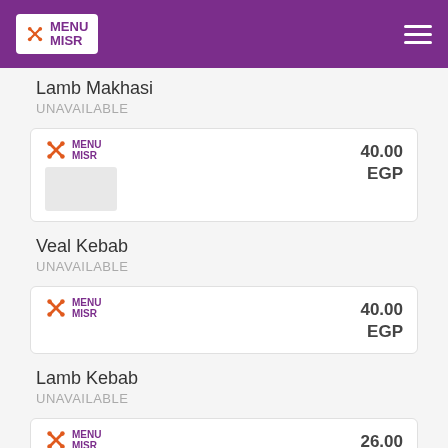MENU MISR
Lamb Makhasi
UNAVAILABLE
[Figure (logo): Menu Misr logo card with price 40.00 EGP]
Veal Kebab
UNAVAILABLE
[Figure (logo): Menu Misr logo card with price 40.00 EGP]
Lamb Kebab
UNAVAILABLE
[Figure (logo): Menu Misr logo card with price 26.00 EGP]